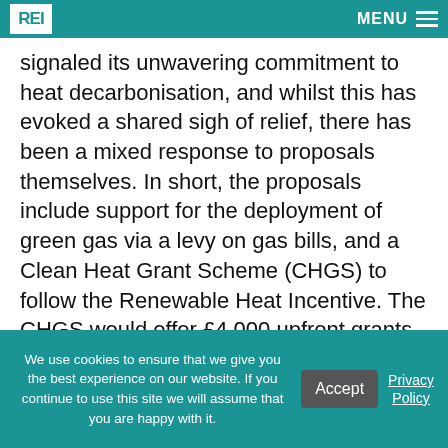REI  MENU
signaled its unwavering commitment to heat decarbonisation, and whilst this has evoked a shared sigh of relief, there has been a mixed response to proposals themselves. In short, the proposals include support for the deployment of green gas via a levy on gas bills, and a Clean Heat Grant Scheme (CHGS) to follow the Renewable Heat Incentive. The CHGS would offer £4,000 upfront grants to consumers to purchase heat pumps, and in some cases biomass, to incentive consumers to make the switch, and though this support has been welcomed for addressing the upfront cost barrier faced by consumers today, many have raised concerns about its indisputable limitations.
On the one hand, support for early adopters could
We use cookies to ensure that we give you the best experience on our website. If you continue to use this site we will assume that you are happy with it.